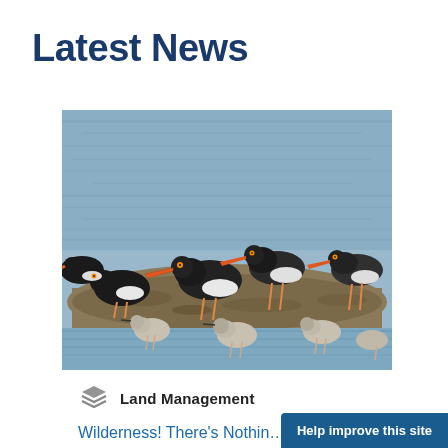Latest News
[Figure (photo): A flock of American Oystercatchers with orange-red bills and black-and-white plumage, along with smaller shorebirds, standing on a rocky coastal flat with blue water in the background.]
Land Management
Wilderness! There's Nothin…